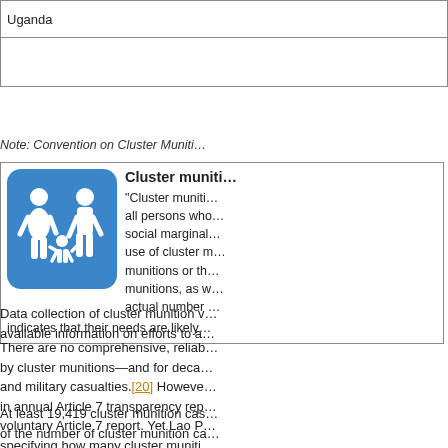| Uganda |
|  |
Note: Convention on Cluster Muniti…
"Cluster munitions" …all persons who…social marginal…use of cluster m…munitions or th…munitions, as w…actual number…indicates that their needs are likely…
Data collection of cluster munition v…available information on efforts to a…
There are no comprehensive, reliab…by cluster munitions—and for deca…and military casualties.[20] Howeve…in annual Article 7 transparency rep…voluntary Article 7 report. Yet Lao P…specifying how many cluster muniti…
At least 19,419 cluster munition cas…of the number of cluster munition ca…as high as 85,000 casualties or mo…